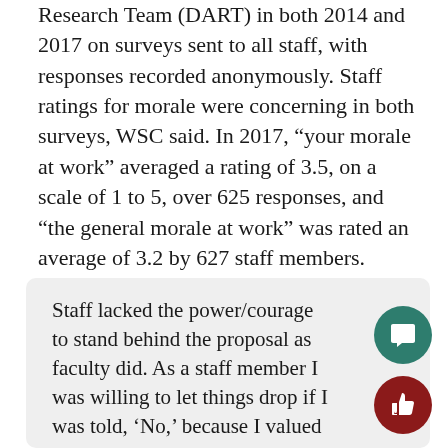Research Team (DART) in both 2014 and 2017 on surveys sent to all staff, with responses recorded anonymously. Staff ratings for morale were concerning in both surveys, WSC said. In 2017, “your morale at work” averaged a rating of 3.5, on a scale of 1 to 5, over 625 responses, and “the general morale at work” was rated an average of 3.2 by 627 staff members. Averages in the 2014 survey were 3.6 and 3.1, respectively, for the same prompts.
Staff lacked the power/courage to stand behind the proposal as faculty did. As a staff member I was willing to let things drop if I was told, ‘No,’ because I valued my job over process and governance. Some